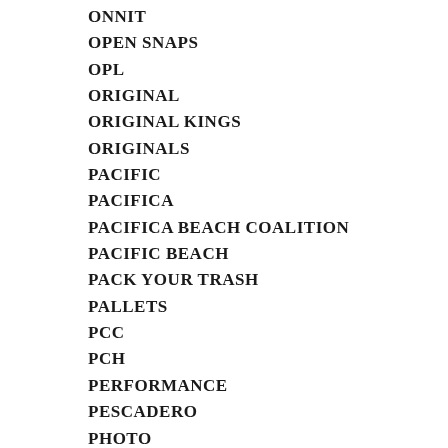ONNIT
OPEN SNAPS
OPL
ORIGINAL
ORIGINAL KINGS
ORIGINALS
PACIFIC
PACIFICA
PACIFICA BEACH COALITION
PACIFIC BEACH
PACK YOUR TRASH
PALLETS
PCC
PCH
PERFORMANCE
PESCADERO
PHOTO
PHOTOGRAPHY
PHS